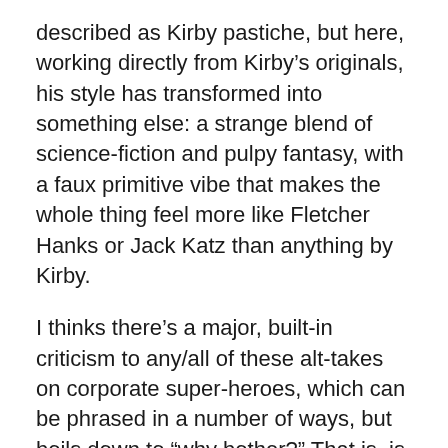described as Kirby pastiche, but here, working directly from Kirby's originals, his style has transformed into something else: a strange blend of science-fiction and pulpy fantasy, with a faux primitive vibe that makes the whole thing feel more like Fletcher Hanks or Jack Katz than anything by Kirby.
I thinks there's a major, built-in criticism to any/all of these alt-takes on corporate super-heroes, which can be phrased in a number of ways, but boils down to “why bother?” That is, is it more than just preying on nostalgia? Is the cartoonist able to leverage enough thematic oomph from the source material to make it worth being tied down to that source material in the first place?  And I would say most of the time they can't: maybe it ends up as an amusing riff (more often as a not-so-amusing riff), but